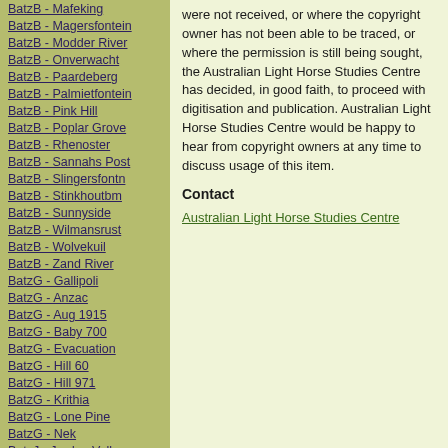BatzB - Mafeking
BatzB - Magersfontein
BatzB - Modder River
BatzB - Onverwacht
BatzB - Paardeberg
BatzB - Palmietfontein
BatzB - Pink Hill
BatzB - Poplar Grove
BatzB - Rhenoster
BatzB - Sannahs Post
BatzB - Slingersfontn
BatzB - Stinkhoutbm
BatzB - Sunnyside
BatzB - Wilmansrust
BatzB - Wolvekuil
BatzB - Zand River
BatzG - Gallipoli
BatzG - Anzac
BatzG - Aug 1915
BatzG - Baby 700
BatzG - Evacuation
BatzG - Hill 60
BatzG - Hill 971
BatzG - Krithia
BatzG - Lone Pine
BatzG - Nek
BatzJ - Jordan Valley
BatzJ - 1st Amman
were not received, or where the copyright owner has not been able to be traced, or where the permission is still being sought, the Australian Light Horse Studies Centre has decided, in good faith, to proceed with digitisation and publication. Australian Light Horse Studies Centre would be happy to hear from copyright owners at any time to discuss usage of this item.
Contact
Australian Light Horse Studies Centre